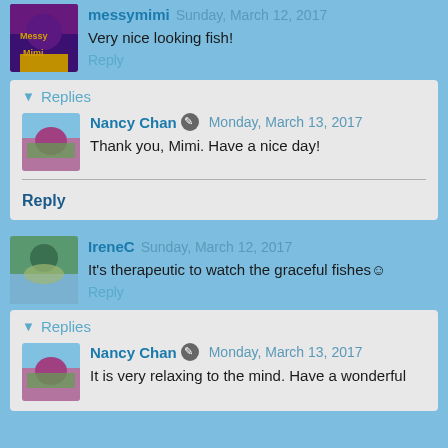messymimi   Sunday, March 12, 2017
Very nice looking fish!
Reply
▼ Replies
Nancy Chan  ✎  Monday, March 13, 2017
Thank you, Mimi. Have a nice day!
Reply
IreneC   Sunday, March 12, 2017
It's therapeutic to watch the graceful fishes☺
Reply
▼ Replies
Nancy Chan  ✎  Monday, March 13, 2017
It is very relaxing to the mind. Have a wonderful